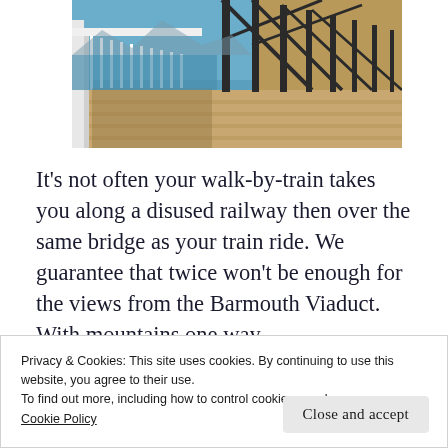[Figure (photo): Aerial perspective view along the Barmouth Viaduct walkway with white railings on the left, dark metal railway bridge structure on the right, wooden deck underfoot, blue water visible in the background, and mountains in the distance.]
It’s not often your walk-by-train takes you along a disused railway then over the same bridge as your train ride. We guarantee that twice won’t be enough for the views from the Barmouth Viaduct. With mountains one way
Privacy & Cookies: This site uses cookies. By continuing to use this website, you agree to their use.
To find out more, including how to control cookies, see here:
Cookie Policy